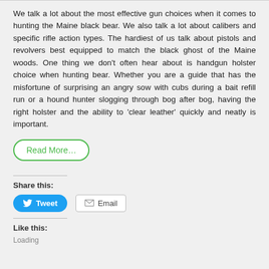We talk a lot about the most effective gun choices when it comes to hunting the Maine black bear. We also talk a lot about calibers and specific rifle action types. The hardiest of us talk about pistols and revolvers best equipped to match the black ghost of the Maine woods. One thing we don't often hear about is handgun holster choice when hunting bear. Whether you are a guide that has the misfortune of surprising an angry sow with cubs during a bait refill run or a hound hunter slogging through bog after bog, having the right holster and the ability to 'clear leather' quickly and neatly is important.
Read More...
Share this:
Tweet
Email
Like this:
Loading